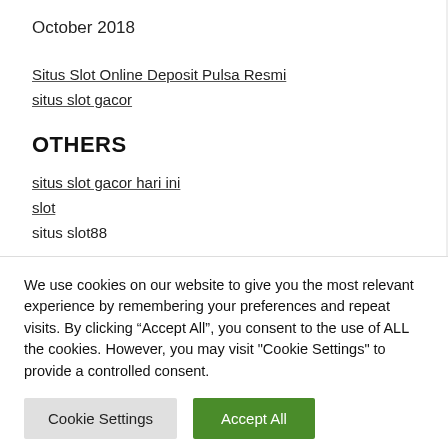October 2018
Situs Slot Online Deposit Pulsa Resmi
situs slot gacor
OTHERS
situs slot gacor hari ini
slot
situs slot88
We use cookies on our website to give you the most relevant experience by remembering your preferences and repeat visits. By clicking “Accept All”, you consent to the use of ALL the cookies. However, you may visit "Cookie Settings" to provide a controlled consent.